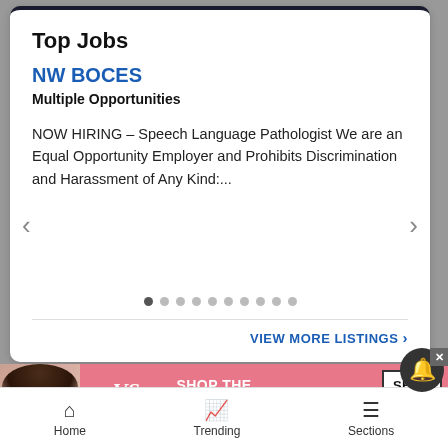Top Jobs
NW BOCES
Multiple Opportunities
NOW HIRING – Speech Language Pathologist We are an Equal Opportunity Employer and Prohibits Discrimination and Harassment of Any Kind:...
VIEW MORE LISTINGS >
[Figure (screenshot): Victoria's Secret advertisement banner with model, VS logo, SHOP THE COLLECTION text, and SHOP NOW button]
Home   Trending   Sections